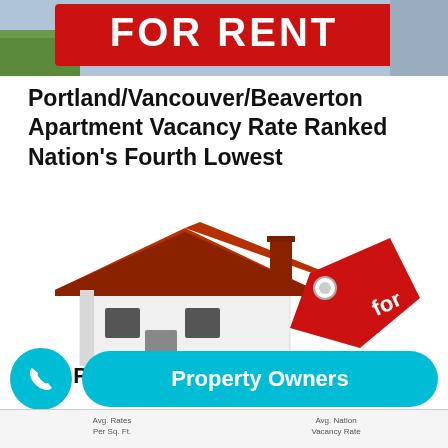[Figure (photo): Red FOR RENT sign photographed outdoors, white bold letters on red background]
Portland/Vancouver/Beaverton Apartment Vacancy Rate Ranked Nation's Fourth Lowest
[Figure (photo): 3D illustration of a white house model with a red roof and a red 'for' price tag hanging from it, on white background]
The Portland rental squeeze
Property Owners